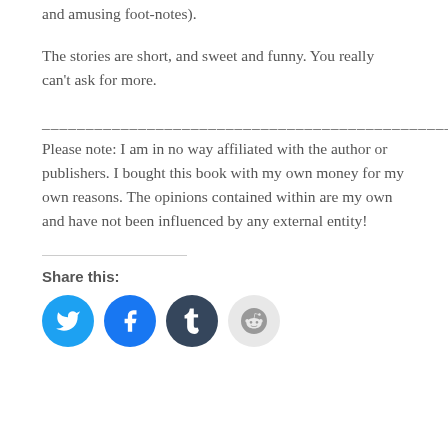and amusing foot-notes).
The stories are short, and sweet and funny. You really can't ask for more.
________________________________________________
Please note: I am in no way affiliated with the author or publishers. I bought this book with my own money for my own reasons. The opinions contained within are my own and have not been influenced by any external entity!
Share this:
[Figure (infographic): Four social sharing icon buttons: Twitter (blue), Facebook (blue), Tumblr (dark), Reddit (light gray)]